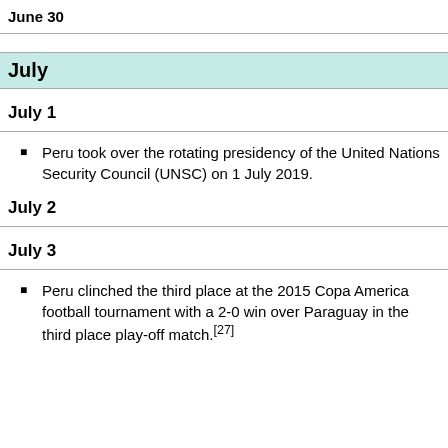June 30
July
July 1
Peru took over the rotating presidency of the United Nations Security Council (UNSC) on 1 July 2019.
July 2
July 3
Peru clinched the third place at the 2015 Copa America football tournament with a 2-0 win over Paraguay in the third place play-off match.[27]